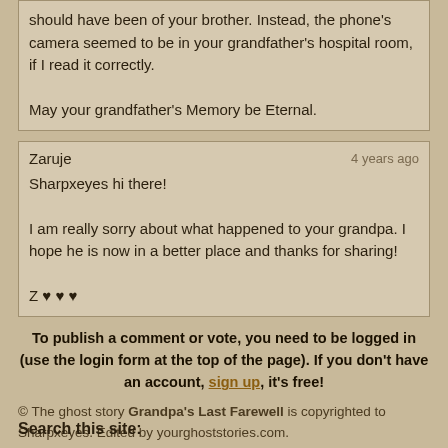should have been of your brother. Instead, the phone's camera seemed to be in your grandfather's hospital room, if I read it correctly.

May your grandfather's Memory be Eternal.
Zaruje
4 years ago

Sharpxeyes hi there!

I am really sorry about what happened to your grandpa. I hope he is now in a better place and thanks for sharing!

Z ♥ ♥ ♥
To publish a comment or vote, you need to be logged in (use the login form at the top of the page). If you don't have an account, sign up, it's free!
© The ghost story Grandpa's Last Farewell is copyrighted to Sharpxeyes. Edited by yourghoststories.com.
Search this site: